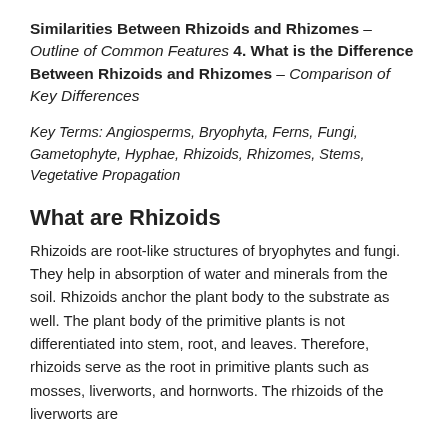Similarities Between Rhizoids and Rhizomes – Outline of Common Features 4. What is the Difference Between Rhizoids and Rhizomes – Comparison of Key Differences
Key Terms: Angiosperms, Bryophyta, Ferns, Fungi, Gametophyte, Hyphae, Rhizoids, Rhizomes, Stems, Vegetative Propagation
What are Rhizoids
Rhizoids are root-like structures of bryophytes and fungi. They help in absorption of water and minerals from the soil. Rhizoids anchor the plant body to the substrate as well. The plant body of the primitive plants is not differentiated into stem, root, and leaves. Therefore, rhizoids serve as the root in primitive plants such as mosses, liverworts, and hornworts. The rhizoids of the liverworts are